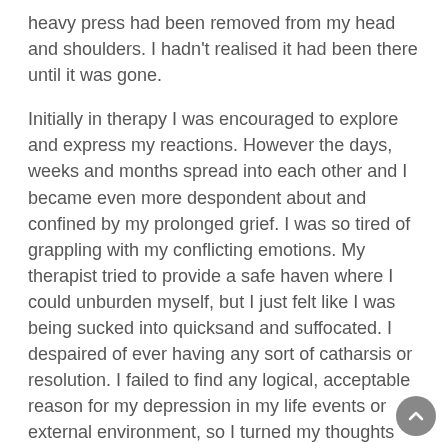heavy press had been removed from my head and shoulders. I hadn't realised it had been there until it was gone.
Initially in therapy I was encouraged to explore and express my reactions. However the days, weeks and months spread into each other and I became even more despondent about and confined by my prolonged grief. I was so tired of grappling with my conflicting emotions. My therapist tried to provide a safe haven where I could unburden myself, but I just felt like I was being sucked into quicksand and suffocated. I despaired of ever having any sort of catharsis or resolution. I failed to find any logical, acceptable reason for my depression in my life events or external environment, so I turned my thoughts inward to seek a cause.
I was so angry at myself for having the abortion and causing myself so much pain. I was also angry at other people but didn't realise it and couldn't express it. I had an abortion because I thought having a child would be too hard and would ruin my life. Yet paradoxically, because I had killed my child, how could I ever hope or deserve to feel better? How could anyone understand